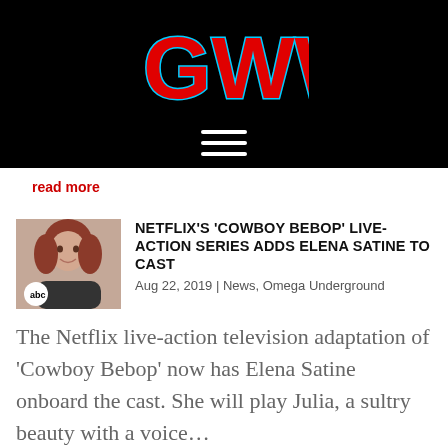[Figure (logo): GWW logo in red with blue outline on black background]
read more
[Figure (photo): Photo of Elena Satine at an ABC event, red-haired woman smiling]
NETFLIX'S 'COWBOY BEBOP' LIVE-ACTION SERIES ADDS ELENA SATINE TO CAST
Aug 22, 2019 | News, Omega Underground
The Netflix live-action television adaptation of 'Cowboy Bebop' now has Elena Satine onboard the cast. She will play Julia, a sultry beauty with a voice…